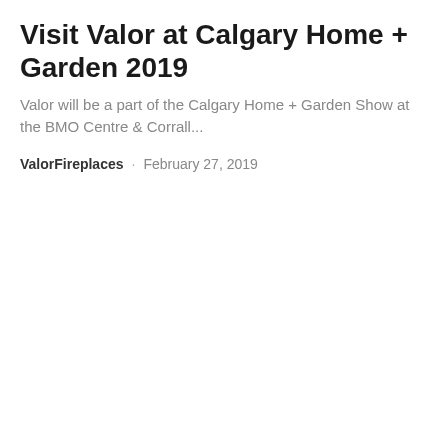Visit Valor at Calgary Home + Garden 2019
Valor will be a part of the Calgary Home + Garden Show at the BMO Centre & Corrall...
ValorFireplaces · February 27, 2019